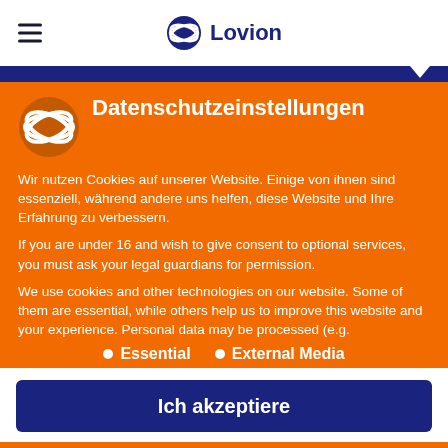Lovion
Datenschutzeinstellungen
Wir nutzen Cookies auf unserer Website. Einige von ihnen sind essenziell, während andere uns helfen, diese Website und Ihre Erfahrung zu verbessern.
If you are under 16 and wish to give consent to optional services, you must ask your legal guardians for permission.
We use cookies and other technologies on our website. Some of them are essential, while others help us to improve this website and your experience. Personal data may be processed (e.g.
Essential
External Media
Ich akzeptiere